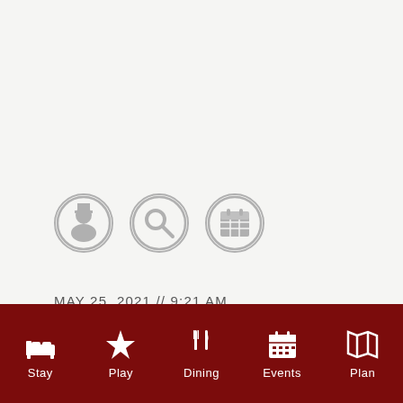[Figure (infographic): Three circular icon buttons: a person/profile icon, a search/magnifying glass icon, and a calendar icon, all in grey on a light background]
MAY 25, 2021 // 9:21 AM
BURGER BLISS
[Figure (infographic): Dark red navigation bar with five icons and labels: Stay (bed icon), Play (star icon), Dining (fork and knife icon), Events (calendar icon), Plan (map icon)]